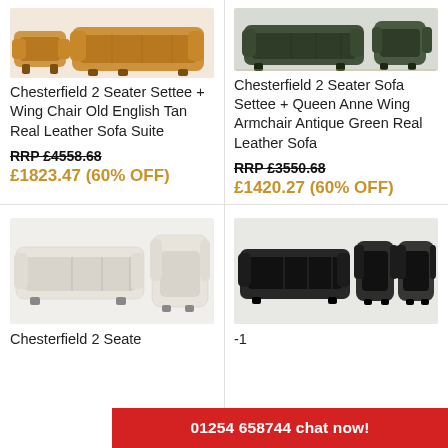[Figure (photo): Tan leather Chesterfield 2-seater settee with wing chair, top-left product image]
Chesterfield 2 Seater Settee + Wing Chair Old English Tan Real Leather Sofa Suite
RRP £4558.68
£1823.47 (60% OFF)
[Figure (photo): Antique green leather Chesterfield 2-seater sofa with Queen Anne wing armchair, top-right product image]
Chesterfield 2 Seater Sofa Settee + Queen Anne Wing Armchair Antique Green Real Leather Sofa
RRP £3550.68
£1420.27 (60% OFF)
[Figure (photo): Cream/white Chesterfield 2-seater sofa with wing armchair, bottom-left product image]
Chesterfield 2 Seate
[Figure (photo): Dark/black leather Chesterfield 2-seater sofa with wing armchairs, bottom-right product image]
-1
01254 658744 chat now!